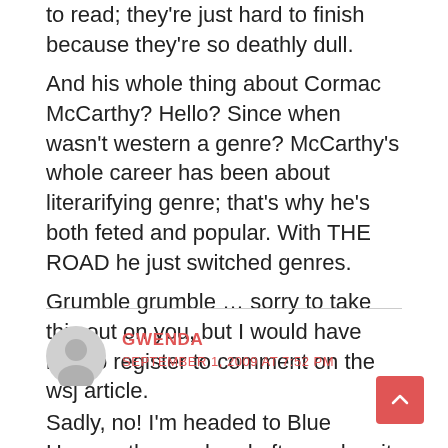to read; they're just hard to finish because they're so deathly dull.
And his whole thing about Cormac McCarthy? Hello? Since when wasn't western a genre? McCarthy's whole career has been about literarifying genre; that's why he's both feted and popular. With THE ROAD he just switched genres.
Grumble grumble … sorry to take this out on you, but I would have had to register to comment on the wsj article.
GWENDA
SEPTEMBER 1, 2009 AT 7:52 PM
Sadly, no! I'm headed to Blue Heaven the weekend after and so it wasn't possible. Next year, maybe?